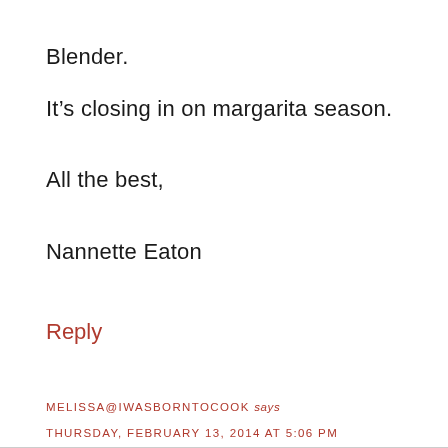Blender.
It's closing in on margarita season.
All the best,
Nannette Eaton
Reply
MELISSA@IWASBORNTOCOOK says
THURSDAY, FEBRUARY 13, 2014 AT 5:06 PM
the blender!